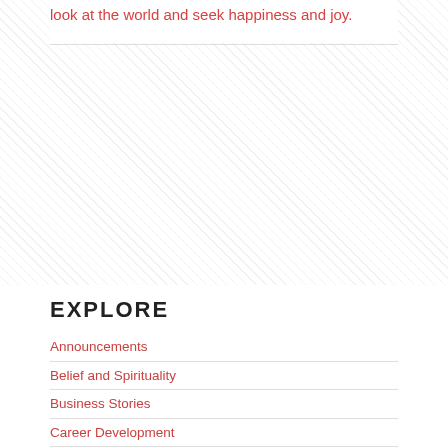look at the world and seek happiness and joy.
EXPLORE
Announcements
Belief and Spirituality
Business Stories
Career Development
Effective Communication
Great Personalities
Health and Well-being
Ideas and Insights
Inspirational Quotations
Leadership
Leadership Reading